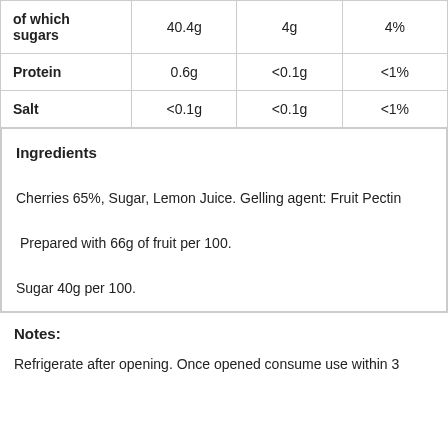| of which sugars | 40.4g | 4g | 4% |
| Protein | 0.6g | <0.1g | <1% |
| Salt | <0.1g | <0.1g | <1% |
Ingredients

Cherries 65%, Sugar, Lemon Juice. Gelling agent: Fruit Pectin

 Prepared with 66g of fruit per 100.

Sugar 40g per 100.
Notes:
Refrigerate after opening. Once opened consume use within 3